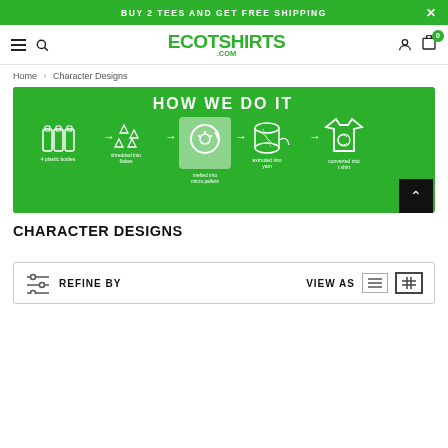BUY 2 TEES AND GET FREE SHIPPING
[Figure (logo): ECOTSHIRTS.COM logo with navigation icons (hamburger menu, search, user, cart with 0 badge)]
Home > Character Designs
[Figure (infographic): How We Do It infographic on green textured background showing process: 4 plastic bottles → shredded into flakes → melted into micro pellets → extruded into yarn → converted into t shirt]
CHARACTER DESIGNS
REFINE BY   VIEW AS